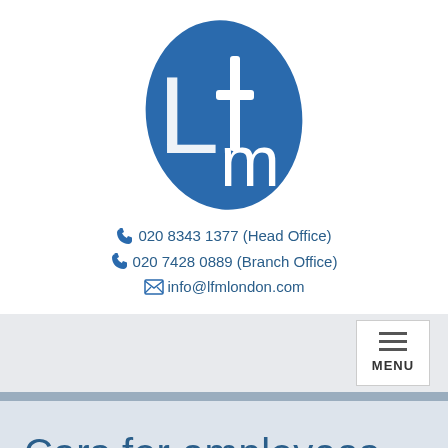[Figure (logo): LFM logo — white letters L, f, m on a blue oval/ellipse shape]
020 8343 1377 (Head Office)
020 7428 0889 (Branch Office)
info@lfmlondon.com
[Figure (screenshot): Navigation bar with MENU button (hamburger icon)]
Cars for employees